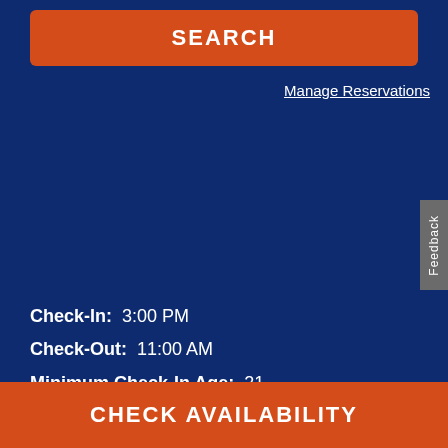SEARCH
Manage Reservations
Feedback
Check-In:  3:00 PM
Check-Out:  11:00 AM
Minimum Check-In Age:  21
Reservation:  1-888-Holiday
CHECK AVAILABILITY